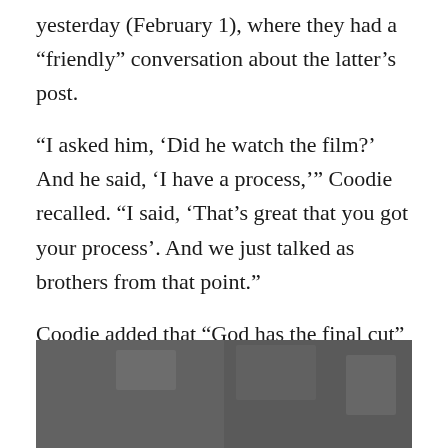yesterday (February 1), where they had a “friendly” conversation about the latter’s post.
“I asked him, ‘Did he watch the film?’ And he said, ‘I have a process,’” Coodie recalled. “I said, ‘That’s great that you got your process’. And we just talked as brothers from that point.”
Coodie added that “God has the final cut” on the film, before Chike said that West’s aforementioned Instagram post was “a blessing” for the promotion of Jeen-Yuhs.
[Figure (screenshot): Video thumbnail with caption: iann dior on Lil Baby, Kanye West and the fir…]